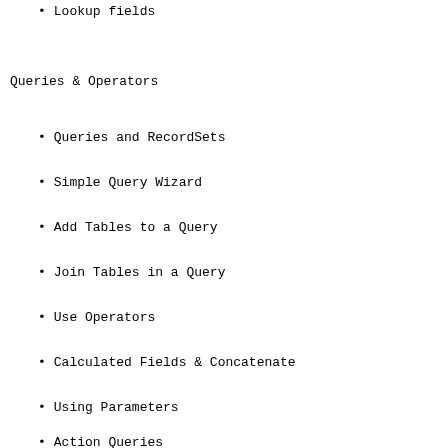Lookup fields
Queries & Operators
Queries and RecordSets
Simple Query Wizard
Add Tables to a Query
Join Tables in a Query
Use Operators
Calculated Fields & Concatenate
Using Parameters
Action Queries